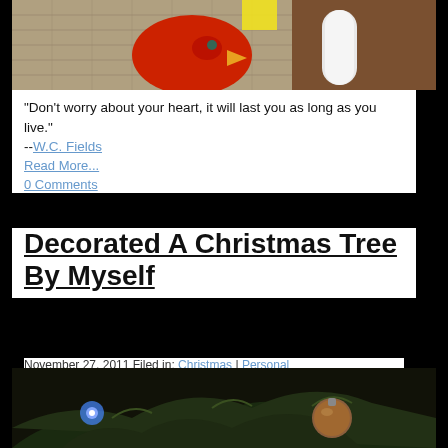[Figure (photo): Top portion of a photo showing a red toy bird or cardinal with yellow beak on a carpet/burlap surface with brown wood visible]
"Don't worry about your heart, it will last you as long as you live." --W.C. Fields
Read More...
0 Comments
Decorated A Christmas Tree By Myself
November 27, 2011 Filed in: Christmas | Personal
[Figure (photo): Bottom portion of a Christmas tree photo showing green pine branches with ornaments and a blue light and a round ornament]